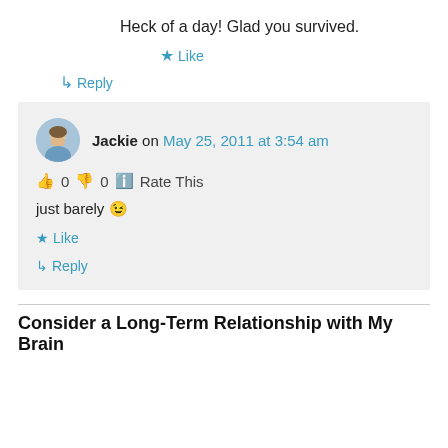Heck of a day! Glad you survived.
★ Like
↳ Reply
Jackie on May 25, 2011 at 3:54 am
👍 0 👎 0 ℹ Rate This
just barely 😉
★ Like
↳ Reply
Consider a Long-Term Relationship with My Brain